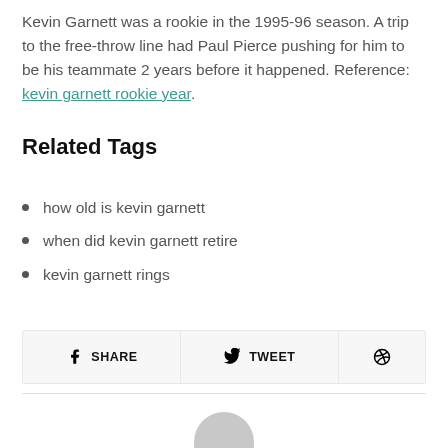Kevin Garnett was a rookie in the 1995-96 season. A trip to the free-throw line had Paul Pierce pushing for him to be his teammate 2 years before it happened. Reference: kevin garnett rookie year.
Related Tags
how old is kevin garnett
when did kevin garnett retire
kevin garnett rings